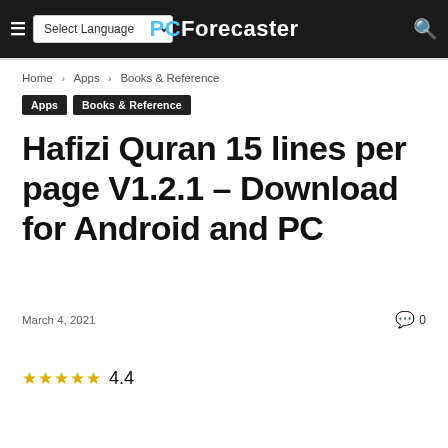PC Forecaster
Home › Apps › Books & Reference
Apps  Books & Reference
Hafizi Quran 15 lines per page V1.2.1 – Download for Android and PC
March 4, 2021   0
★★★★★ 4.4